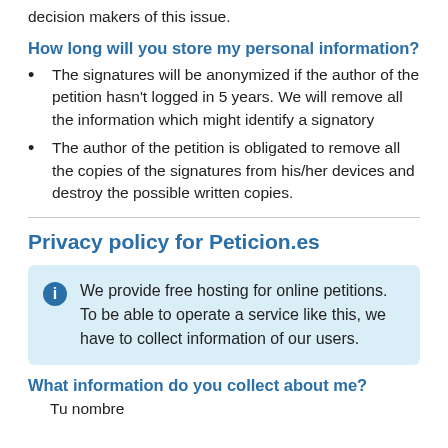decision makers of this issue.
How long will you store my personal information?
The signatures will be anonymized if the author of the petition hasn't logged in 5 years. We will remove all the information which might identify a signatory
The author of the petition is obligated to remove all the copies of the signatures from his/her devices and destroy the possible written copies.
Privacy policy for Peticion.es
We provide free hosting for online petitions. To be able to operate a service like this, we have to collect information of our users.
What information do you collect about me?
Tu nombre